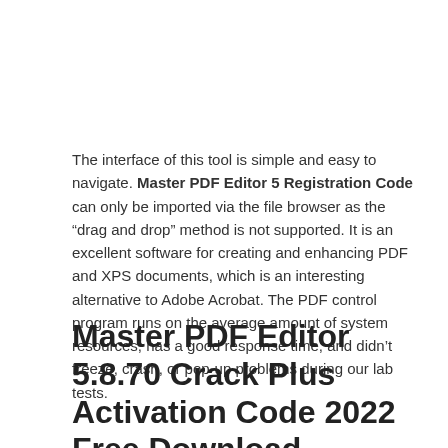The interface of this tool is simple and easy to navigate. Master PDF Editor 5 Registration Code can only be imported via the file browser as the “drag and drop” method is not supported. It is an excellent software for creating and enhancing PDF and XPS documents, which is an interesting alternative to Adobe Acrobat. The PDF control program runs on the average amount of system resources, has a good response time, and didn’t freeze, crash, or pop-up problems during our lab tests.
Master PDF Editor 5.8.70 Crack Plus Activation Code 2022 Free Download